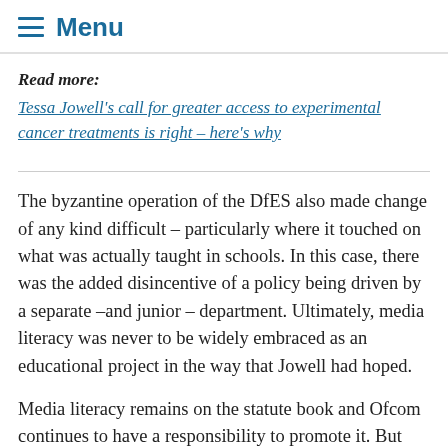Menu
Read more:
Tessa Jowell's call for greater access to experimental cancer treatments is right – here's why
The byzantine operation of the DfES also made change of any kind difficult – particularly where it touched on what was actually taught in schools. In this case, there was the added disincentive of a policy being driven by a separate –and junior – department. Ultimately, media literacy was never to be widely embraced as an educational project in the way that Jowell had hoped.
Media literacy remains on the statute book and Ofcom continues to have a responsibility to promote it. But